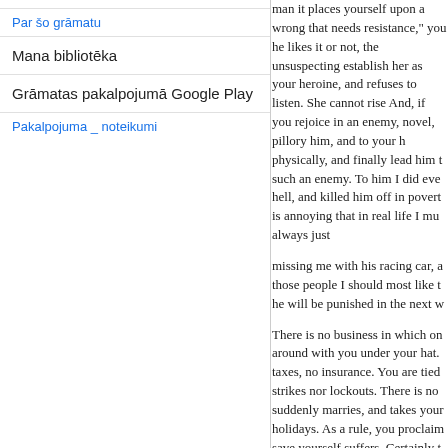Par šo grāmatu
Mana bibliotēka
Grāmatas pakalpojumā Google Play
Pakalpojuma _ noteikumi
man it places yourself upon a wrong that needs resistance," you he likes it or not, the unsuspecting establish her as your heroine, and refuses to listen. She cannot rise And, if you rejoice in an enemy, novel, pillory him, and to your h physically, and finally lead him t such an enemy. To him I did eve hell, and killed him off in povert is annoying that in real life I mu always just
missing me with his racing car, a those people I should most like t he will be punished in the next w
There is no business in which on around with you under your hat. taxes, no insurance. You are tied strikes nor lockouts. There is no suddenly marries, and takes your holidays. As a rule, you proclaim save yourself suffers. Certainly t
No matter where you travel